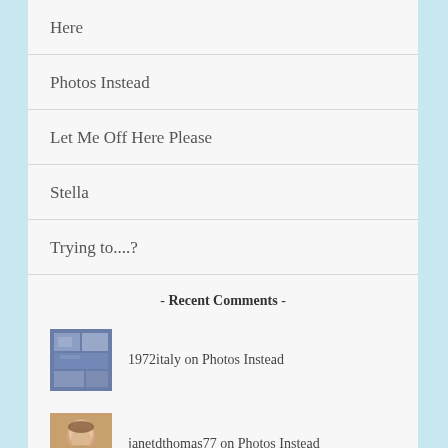Here
Photos Instead
Let Me Off Here Please
Stella
Trying to....?
- Recent Comments -
1972italy on Photos Instead
janetdthomas77 on Photos Instead